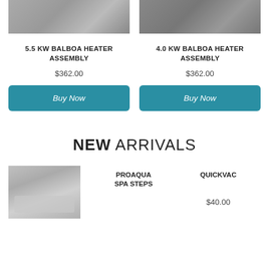[Figure (photo): Photo of 5.5 KW Balboa Heater Assembly product, greyscale/metallic]
[Figure (photo): Photo of 4.0 KW Balboa Heater Assembly product, greyscale/metallic]
5.5 KW BALBOA HEATER ASSEMBLY
$362.00
Buy Now
4.0 KW BALBOA HEATER ASSEMBLY
$362.00
Buy Now
NEW ARRIVALS
[Figure (photo): Photo of spa control panel product on metallic surface]
PROAQUA SPA STEPS
QUICKVAC
$40.00